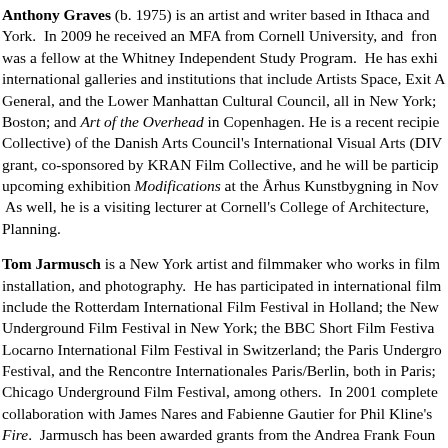Anthony Graves (b. 1975) is an artist and writer based in Ithaca and New York. In 2009 he received an MFA from Cornell University, and from was a fellow at the Whitney Independent Study Program. He has exhibited in international galleries and institutions that include Artists Space, Exit Art, General, and the Lower Manhattan Cultural Council, all in New York; Boston; and Art of the Overhead in Copenhagen. He is a recent recipient (Collective) of the Danish Arts Council's International Visual Arts (DIV) grant, co-sponsored by KRAN Film Collective, and he will be participating in the upcoming exhibition Modifications at the Århus Kunstbygning in November. As well, he is a visiting lecturer at Cornell's College of Architecture, Art, and Planning.
Tom Jarmusch is a New York artist and filmmaker who works in film, installation, and photography. He has participated in international film festivals that include the Rotterdam International Film Festival in Holland; the New York Underground Film Festival in New York; the BBC Short Film Festival; the Locarno International Film Festival in Switzerland; the Paris Underground Film Festival, and the Rencontre Internationales Paris/Berlin, both in Paris; the Chicago Underground Film Festival, among others. In 2001 completed a collaboration with James Nares and Fabienne Gautier for Phil Kline's Unsilent Night/Fire. Jarmusch has been awarded grants from the Andrea Frank Foundation, IngenuityFest, and the Foundation for Contemporary Arts. As an actor...